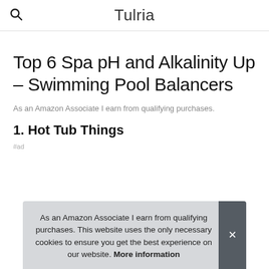Tulria
Top 6 Spa pH and Alkalinity Up – Swimming Pool Balancers
As an Amazon Associate I earn from qualifying purchases.
1. Hot Tub Things
#ad
As an Amazon Associate I earn from qualifying purchases. This website uses the only necessary cookies to ensure you get the best experience on our website. More information